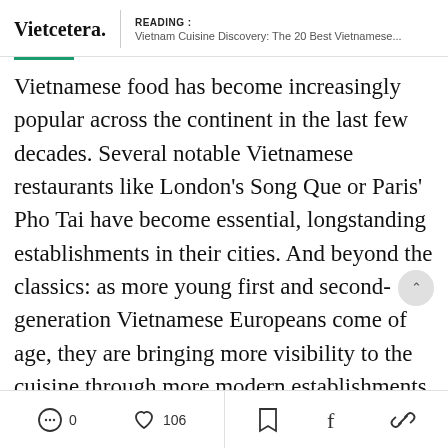Vietcetera. | READING : Vietnam Cuisine Discovery: The 20 Best Vietnamese...
Vietnamese food has become increasingly popular across the continent in the last few decades. Several notable Vietnamese restaurants like London’s Song Que or Paris’ Pho Tai have become essential, longstanding establishments in their cities. And beyond the classics: as more young first and second-generation Vietnamese Europeans come of age, they are bringing more visibility to the cuisine through more modern establishments
0  106